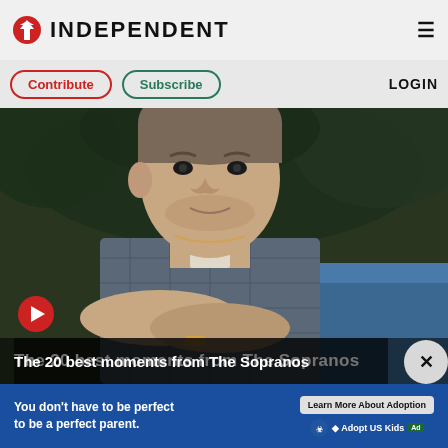[Figure (logo): The Independent newspaper logo with eagle icon and INDEPENDENT wordmark]
Contribute
Subscribe
LOGIN
[Figure (photo): Man in plaid shirt with arms crossed seated near a pool, from The Sopranos]
The 20 best moments from The Sopranos
[Figure (infographic): Ad banner: You don't have to be perfect to be a perfect parent. Learn More About Adoption. Adopt US Kids.]